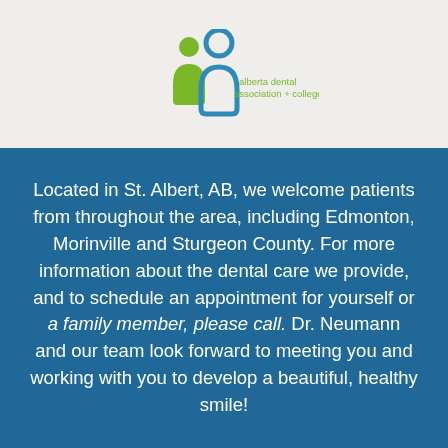[Figure (logo): Alberta Dental Association + College logo with stylized figures in green and blue, text 'alberta dental association + college' in green]
Located in St. Albert, AB, we welcome patients from throughout the area, including Edmonton, Morinville and Sturgeon County. For more information about the dental care we provide, and to schedule an appointment for yourself or a family member, please call. Dr. Neumann and our team look forward to meeting you and working with you to develop a beautiful, healthy smile!